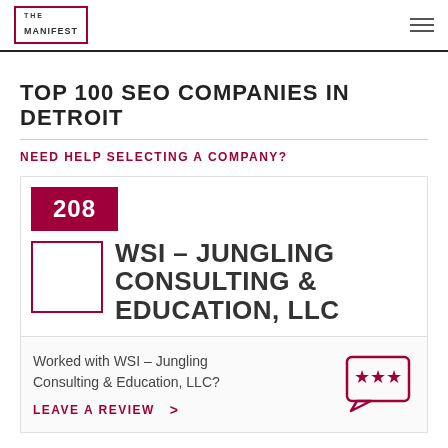THE MANIFEST
TOP 100 SEO COMPANIES IN DETROIT
NEED HELP SELECTING A COMPANY?
208
WSI – JUNGLING CONSULTING & EDUCATION, LLC
Worked with WSI – Jungling Consulting & Education, LLC?
LEAVE A REVIEW >